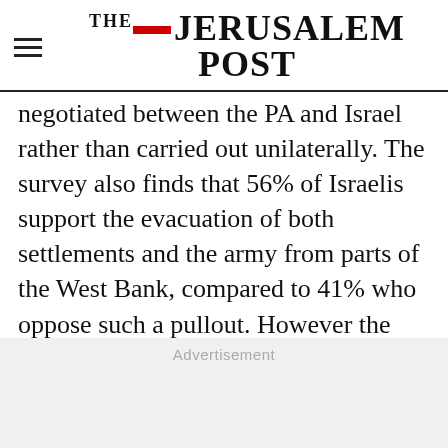THE JERUSALEM POST
negotiated between the PA and Israel rather than carried out unilaterally. The survey also finds that 56% of Israelis support the evacuation of both settlements and the army from parts of the West Bank, compared to 41% who oppose such a pullout. However the same poll finds that 56% of Israelis oppose the evacuation of settlements in the West Bank without the evacuation of the army, as Acting Prime Minister Ehud Olmert envisions the next large-scale West Bank
Advertisement